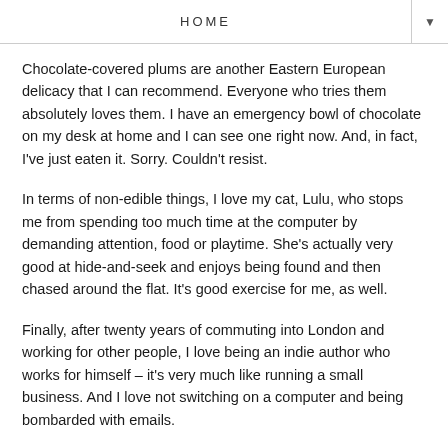HOME
Chocolate-covered plums are another Eastern European delicacy that I can recommend. Everyone who tries them absolutely loves them. I have an emergency bowl of chocolate on my desk at home and I can see one right now. And, in fact, I've just eaten it. Sorry. Couldn't resist.
In terms of non-edible things, I love my cat, Lulu, who stops me from spending too much time at the computer by demanding attention, food or playtime. She's actually very good at hide-and-seek and enjoys being found and then chased around the flat. It's good exercise for me, as well.
Finally, after twenty years of commuting into London and working for other people, I love being an indie author who works for himself – it's very much like running a small business. And I love not switching on a computer and being bombarded with emails.
Five-star reviews on Amazon are also quite nice, obviously. If